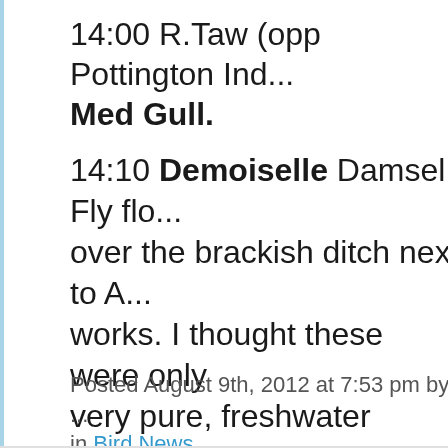14:00 R.Taw (opp Pottington Ind... Med Gull.
14:10 Demoiselle Damsel Fly flo... over the brackish ditch next to A... works. I thought these were only very pure, freshwater streams? Also, more Cinnabar moths tha... long time. Probably due to the va... Ragwort that`s about.
Posted August 9th, 2012 at 7:53 pm by ... in Bird News